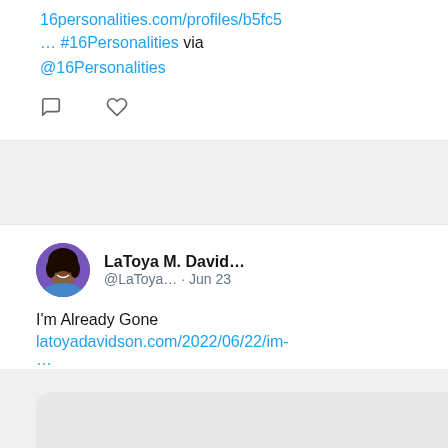16personalities.com/profiles/b5fc5… #16Personalities via @16Personalities
[Figure (screenshot): Tweet card showing LaToya M. David... @LaToya... · Jun 23, text: I'm Already Gone, link: latoyadavidson.com/2022/06/22/im- ..., with link preview showing latoyadavidson.com and I'm Already Gone]